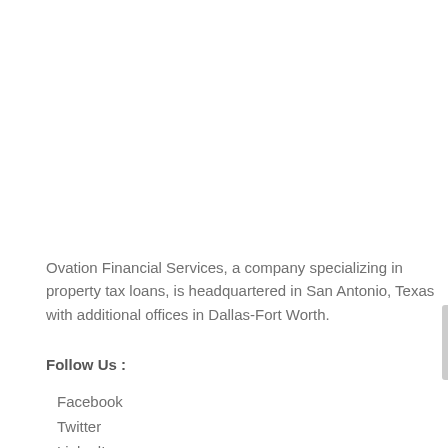Ovation Financial Services, a company specializing in property tax loans, is headquartered in San Antonio, Texas with additional offices in Dallas-Fort Worth.
Follow Us :
Facebook
Twitter
LinkedIn